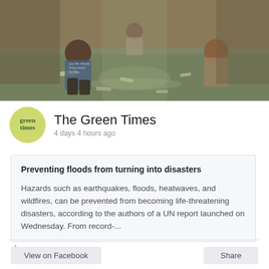[Figure (photo): Flood scene with people wading through muddy water in a flooded street or alley]
The Green Times
4 days 4 hours ago
Preventing floods from turning into disasters
Hazards such as earthquakes, floods, heatwaves, and wildfires, can be prevented from becoming life-threatening disasters, according to the authors of a UN report launched on Wednesday. From record-...
👍 2
View on Facebook
Share